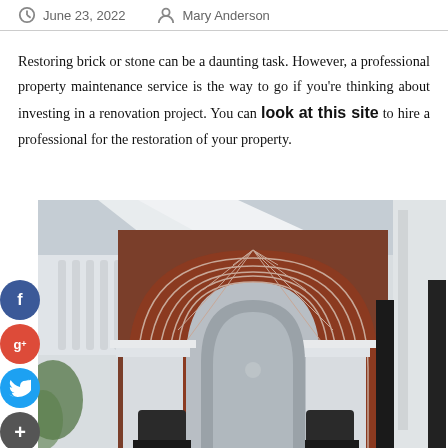June 23, 2022   Mary Anderson
Restoring brick or stone can be a daunting task. However, a professional property maintenance service is the way to go if you're thinking about investing in a renovation project. You can look at this site to hire a professional for the restoration of your property.
[Figure (photo): Photograph of a brick arched entryway with white rendered columns and decorative arch, showing restored brickwork in dark red with white mortar joints, viewed from inside looking out.]